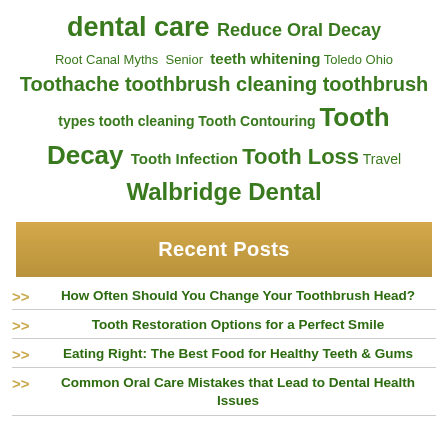[Figure (infographic): Tag cloud with dental/oral health keywords in varying sizes, all in green color. Terms include: dental care, Reduce Oral Decay, Root Canal Myths, Senior, teeth whitening, Toledo Ohio, Toothache, toothbrush cleaning, toothbrush types, tooth cleaning, Tooth Contouring, Tooth Decay, Tooth Infection, Tooth Loss, Travel, Walbridge Dental]
Recent Posts
How Often Should You Change Your Toothbrush Head?
Tooth Restoration Options for a Perfect Smile
Eating Right: The Best Food for Healthy Teeth & Gums
Common Oral Care Mistakes that Lead to Dental Health Issues